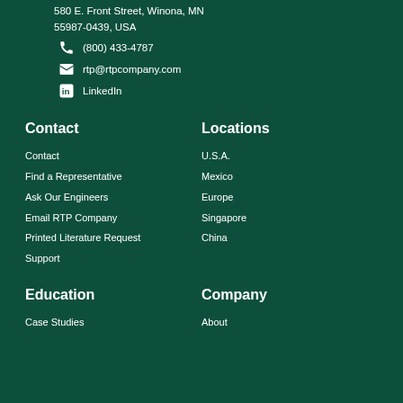580 E. Front Street, Winona, MN
55987-0439, USA
(800) 433-4787
rtp@rtpcompany.com
LinkedIn
Contact
Locations
Contact
Find a Representative
Ask Our Engineers
Email RTP Company
Printed Literature Request
Support
U.S.A.
Mexico
Europe
Singapore
China
Education
Company
Case Studies
About